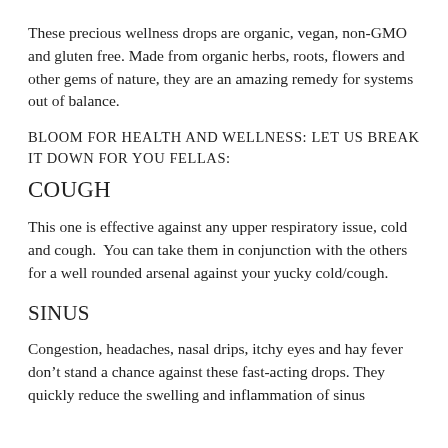These precious wellness drops are organic, vegan, non-GMO and gluten free. Made from organic herbs, roots, flowers and other gems of nature, they are an amazing remedy for systems out of balance.
BLOOM FOR HEALTH AND WELLNESS: LET US BREAK IT DOWN FOR YOU FELLAS:
COUGH
This one is effective against any upper respiratory issue, cold and cough.  You can take them in conjunction with the others for a well rounded arsenal against your yucky cold/cough.
SINUS
Congestion, headaches, nasal drips, itchy eyes and hay fever don't stand a chance against these fast-acting drops. They quickly reduce the swelling and inflammation of sinus the...